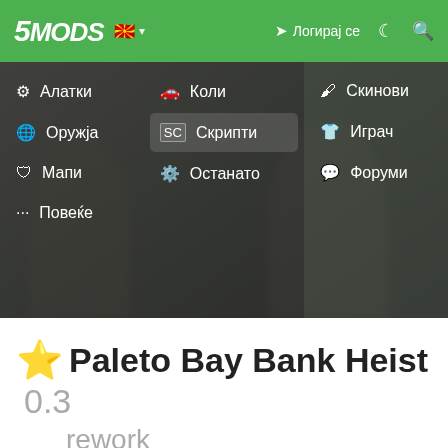5MODS | Логирај се
[Figure (screenshot): 5mods website navigation dropdown menu open over blurred GTA background showing categories: Алатки, Оружја, Мапи, Повеќе, Коли, Скрипти, Останато, Скинови, Играч, Форуми]
⭐ Paleto Bay Bank Heist 0.3 rework